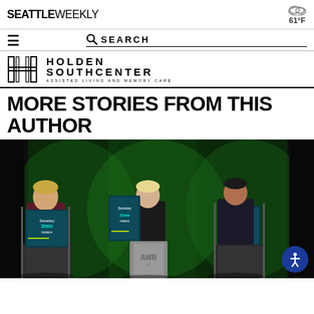SEATTLE WEEKLY | 61°F
☰  🔍 SEARCH
[Figure (logo): Holden Southcenter Assisted Living and Memory Care logo with geometric H mark]
MORE STORIES FROM THIS AUTHOR
[Figure (photo): Three people standing at podiums in a debate-style setting with green-lit backdrop and Secretary of State debate signage]